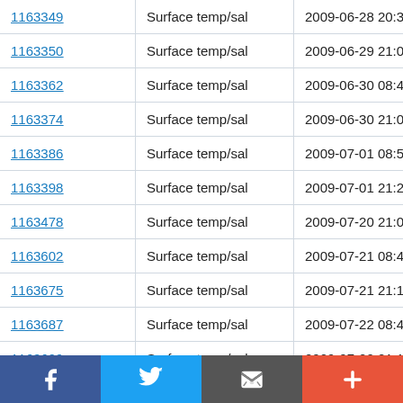| ID | Type | Date/Time | Lat |
| --- | --- | --- | --- |
| 1163349 | Surface temp/sal | 2009-06-28 20:39:17 | 53.33 N |
| 1163350 | Surface temp/sal | 2009-06-29 21:08:28 | 53.337 N |
| 1163362 | Surface temp/sal | 2009-06-30 08:49:28 | 53.33 N |
| 1163374 | Surface temp/sal | 2009-06-30 21:03:08 | 53.336 N |
| 1163386 | Surface temp/sal | 2009-07-01 08:52:28 | 53.329 N |
| 1163398 | Surface temp/sal | 2009-07-01 21:24:58 | 53.336 N |
| 1163478 | Surface temp/sal | 2009-07-20 21:06:30 | 53.337 N |
| 1163602 | Surface temp/sal | 2009-07-21 08:45:51 | 53.327 N |
| 1163675 | Surface temp/sal | 2009-07-21 21:12:41 | 53.337 N |
| 1163687 | Surface temp/sal | 2009-07-22 08:45:12 | 53.33 N |
| 1163699 | Surface temp/sal | 2009-07-22 21:15:02 | 53.337 N |